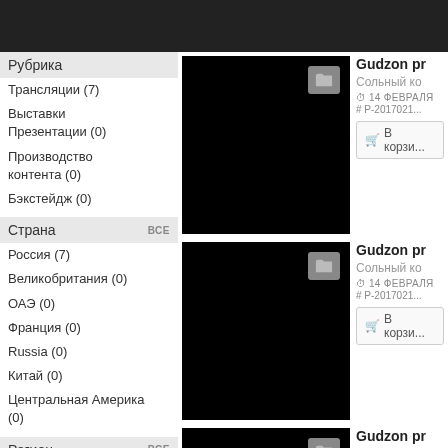Рубрика
Трансляции (7)
Выставки Презентации (0)
Производство контента (0)
Бэкстейдж (0)
Страна   ВСЕ
Россия (7)
Великобритания (0)
ОАЭ (0)
Франция (0)
Russia (0)
Китай (0)
Центральная Америка (0)
Регион   ВСЕ
Сахалинская область (0)
Лосиный Остров (0)
Ленские столбы (0)
Астраханский зап (0)
[Figure (photo): Black product thumbnail with folder icon, first item]
Gudzon pr
Сольный ко
14 ФЕВРАЛЯ
# P-2017021...
В корзи...
[Figure (photo): Black product thumbnail with folder icon, second item]
Gudzon pr
Сольный ко
14 ФЕВРАЛЯ
# P-2017021...
В корзи...
[Figure (photo): Black product thumbnail with folder icon, third item (partial)]
Gudzon pr
Сольный ко